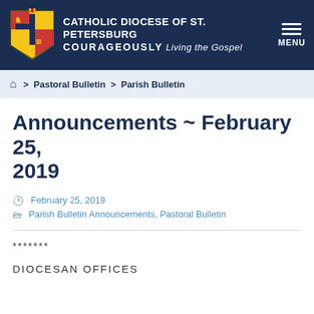[Figure (logo): Catholic Diocese of St. Petersburg header with shield logo, title 'CATHOLIC DIOCESE OF ST. PETERSBURG', subtitle 'COURAGEOUSLY Living the Gospel', and MENU button]
Home > Pastoral Bulletin > Parish Bulletin
Announcements ~ February 25, 2019
February 25, 2019
Parish Bulletin Announcements, Pastoral Bulletin
*******
DIOCESAN OFFICES